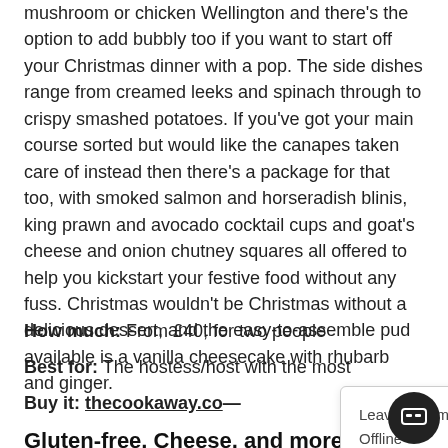mushroom or chicken Wellington and there's the option to add bubbly too if you want to start off your Christmas dinner with a pop. The side dishes range from creamed leeks and spinach through to crispy smashed potatoes. If you've got your main course sorted but would like the canapes taken care of instead then there's a package for that too, with smoked salmon and horseradish blinis, king prawn and avocado cocktail cups and goat's cheese and onion chutney squares all offered to help you kickstart your festive food without any fuss. Christmas wouldn't be Christmas without a delicious dessert, and the easy-to-assemble pud available is a vanilla cheesecake with rhubarb and ginger.
How much: From £40, for two people
Best for: The hostess/host with the most
Buy it: thecookaway.co—
Leave us a message
Offline
Gluten-free, Cheese, and more...